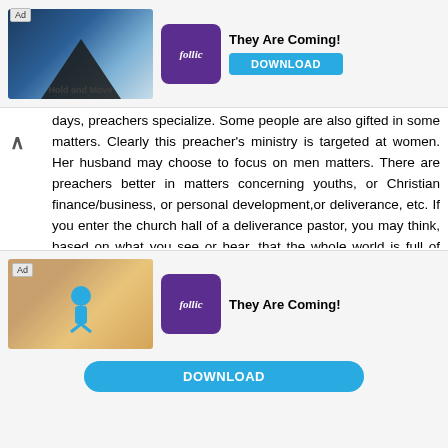[Figure (screenshot): Top advertisement banner for 'They Are Coming!' game by Rollic with a Download button]
days, preachers specialize. Some people are also gifted in some matters. Clearly this preacher's ministry is targeted at women. Her husband may choose to focus on men matters. There are preachers better in matters concerning youths, or Christian finance/business, or personal development,or deliverance, etc. If you enter the church hall of a deliverance pastor, you may think, based on what you see or hear, that the whole world is full of possessed people except the preacher.

Women and men who are always defensive of each gender even on neutral matters like what the preacher said in the quote, even if that's all she said, need to check
[Figure (screenshot): Bottom advertisement banner for 'They Are Coming!' game by Rollic with a Download button]